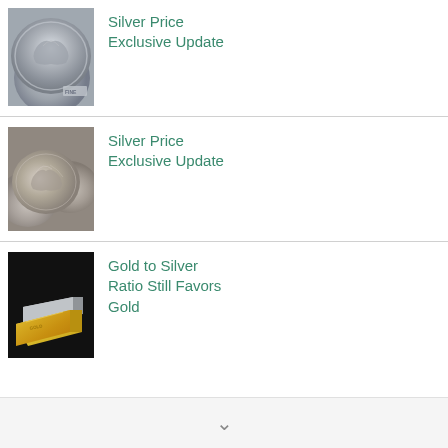[Figure (photo): Close-up photo of silver coins (American Eagle), showing eagle detail and 'FINE' text]
Silver Price Exclusive Update
[Figure (photo): Close-up photo of multiple silver coins stacked and overlapping]
Silver Price Exclusive Update
[Figure (photo): Photo of gold and silver bars on dark background]
Gold to Silver Ratio Still Favors Gold